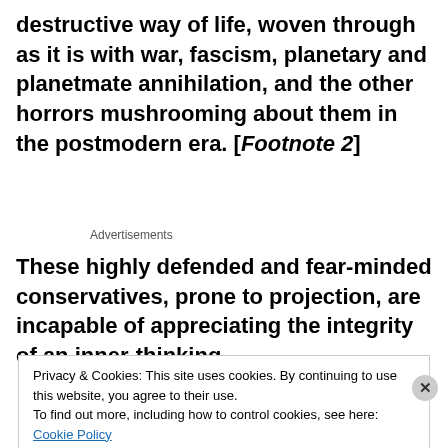destructive way of life, woven through as it is with war, fascism, planetary and planetmate annihilation, and the other horrors mushrooming about them in the postmodern era. [Footnote 2]
Advertisements
These highly defended and fear-minded conservatives, prone to projection, are incapable of appreciating the integrity of an inner-thinking
Privacy & Cookies: This site uses cookies. By continuing to use this website, you agree to their use.
To find out more, including how to control cookies, see here: Cookie Policy
Close and accept